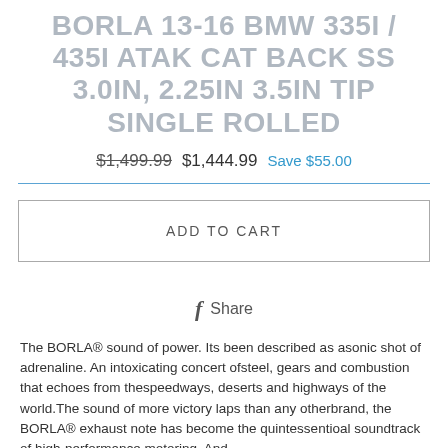BORLA 13-16 BMW 335I / 435I ATAK CAT BACK SS 3.0IN, 2.25IN 3.5IN TIP SINGLE ROLLED
$1,499.99  $1,444.99  Save $55.00
ADD TO CART
f Share
The BORLA® sound of power. Its been described as asonic shot of adrenaline. An intoxicating concert ofsteel, gears and combustion that echoes from thespeedways, deserts and highways of the world.The sound of more victory laps than any otherbrand, the BORLA® exhaust note has become the quintessentioal soundtrack of high-performance motoring. And